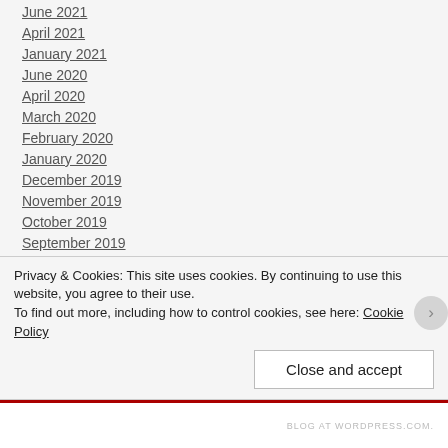June 2021
April 2021
January 2021
June 2020
April 2020
March 2020
February 2020
January 2020
December 2019
November 2019
October 2019
September 2019
August 2019
Privacy & Cookies: This site uses cookies. By continuing to use this website, you agree to their use. To find out more, including how to control cookies, see here: Cookie Policy
Close and accept
BLOG AT WORDPRESS.COM.